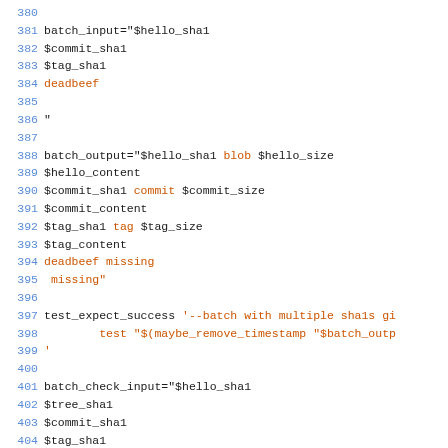Source code listing lines 380-409 showing shell script test code with batch_input, batch_output, batch_check_input, batch_check_output variables and test_expect_success calls.